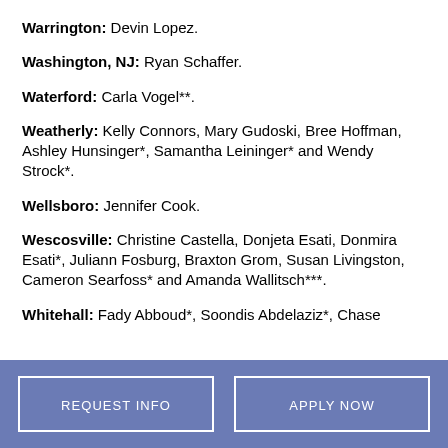Warrington: Devin Lopez.
Washington, NJ: Ryan Schaffer.
Waterford: Carla Vogel**.
Weatherly: Kelly Connors, Mary Gudoski, Bree Hoffman, Ashley Hunsinger*, Samantha Leininger* and Wendy Strock*.
Wellsboro: Jennifer Cook.
Wescosville: Christine Castella, Donjeta Esati, Donmira Esati*, Juliann Fosburg, Braxton Grom, Susan Livingston, Cameron Searfoss* and Amanda Wallitsch***.
Whitehall: Fady Abboud*, Soondis Abdelaziz*, Chase
REQUEST INFO   APPLY NOW